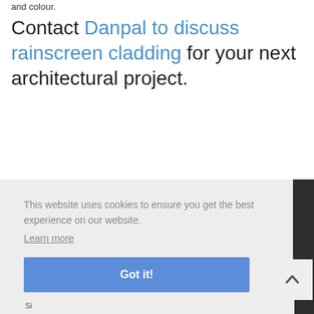and colour.
Contact Danpal to discuss rainscreen cladding for your next architectural project.
This website uses cookies to ensure you get the best experience on our website.
Learn more
Got it!